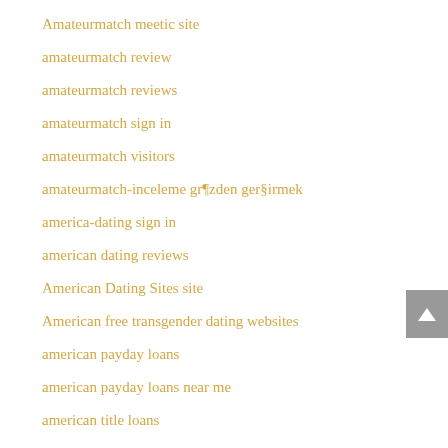Amateurmatch meetic site
amateurmatch review
amateurmatch reviews
amateurmatch sign in
amateurmatch visitors
amateurmatch-inceleme gözden geçirmek
america-dating sign in
american dating reviews
American Dating Sites site
American free transgender dating websites
american payday loans
american payday loans near me
american title loans
Amino aplicacion para ligar
amino-lande login